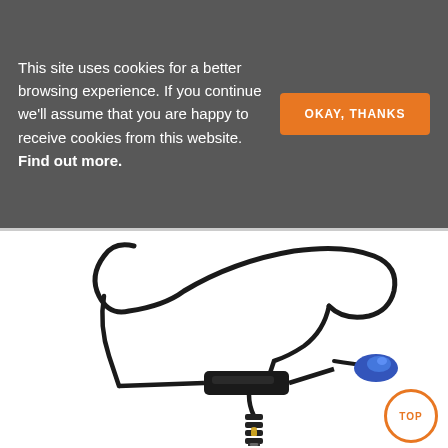This site uses cookies for a better browsing experience. If you continue we'll assume that you are happy to receive cookies from this website. Find out more.
[Figure (photo): A black earphone/hearing device with a long coiled cable, an inline control module (black rectangular box), a small blue ear tip, and a 3.5mm audio jack plug at the bottom end.]